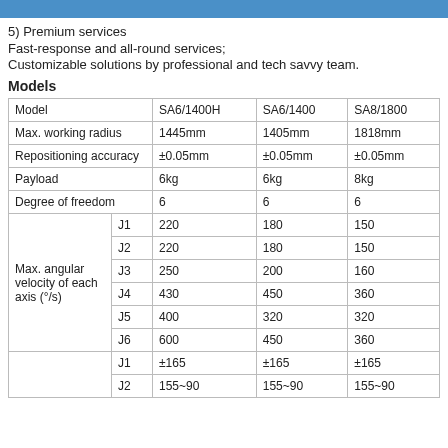5) Premium services
Fast-response and all-round services;
Customizable solutions by professional and tech savvy team.
Models
| Model |  | SA6/1400H | SA6/1400 | SA8/1800 |
| --- | --- | --- | --- | --- |
| Max. working radius |  | 1445mm | 1405mm | 1818mm |
| Repositioning accuracy |  | ±0.05mm | ±0.05mm | ±0.05mm |
| Payload |  | 6kg | 6kg | 8kg |
| Degree of freedom |  | 6 | 6 | 6 |
| Max. angular velocity of each axis (°/s) | J1 | 220 | 180 | 150 |
|  | J2 | 220 | 180 | 150 |
|  | J3 | 250 | 200 | 160 |
|  | J4 | 430 | 450 | 360 |
|  | J5 | 400 | 320 | 320 |
|  | J6 | 600 | 450 | 360 |
|  | J1 | ±165 | ±165 | ±165 |
|  | J2 | 155~90 | 155~90 | 155~90 |